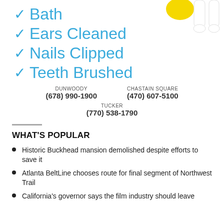[Figure (illustration): Cartoon white dog holding a yellow rubber duck, partially visible at top right]
Bath
Ears Cleaned
Nails Clipped
Teeth Brushed
DUNWOODY
(678) 990-1900
CHASTAIN SQUARE
(470) 607-5100
TUCKER
(770) 538-1790
WHAT'S POPULAR
Historic Buckhead mansion demolished despite efforts to save it
Atlanta BeltLine chooses route for final segment of Northwest Trail
California's governor says the film industry should leave